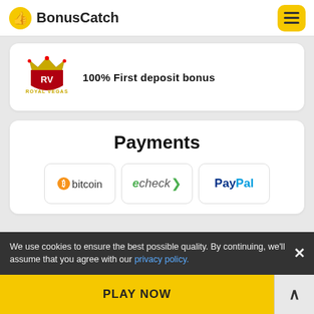BonusCatch
[Figure (logo): Royal Vegas casino logo with crown and RV shield emblem in red and gold]
100% First deposit bonus
Payments
[Figure (logo): Bitcoin payment logo - orange circle with B and text 'bitcoin']
[Figure (logo): echeck payment logo - green italic text with arrow]
[Figure (logo): PayPal payment logo - blue bold text PayPal]
We use cookies to ensure the best possible quality. By continuing, we'll assume that you agree with our privacy policy.
PLAY NOW